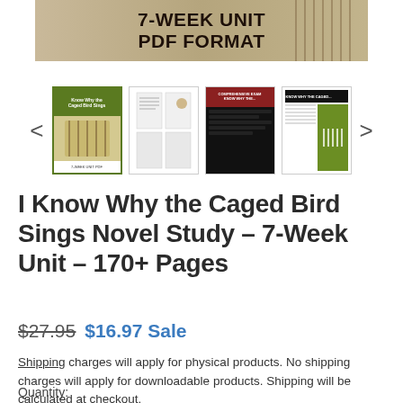[Figure (screenshot): Product banner image for '7-Week Unit PDF Format' with a background showing a birdcage]
[Figure (screenshot): Thumbnail carousel showing 4 product preview images with left and right navigation arrows]
I Know Why the Caged Bird Sings Novel Study - 7-Week Unit - 170+ Pages
$27.95  $16.97 Sale
Shipping charges will apply for physical products. No shipping charges will apply for downloadable products. Shipping will be calculated at checkout.
Quantity: